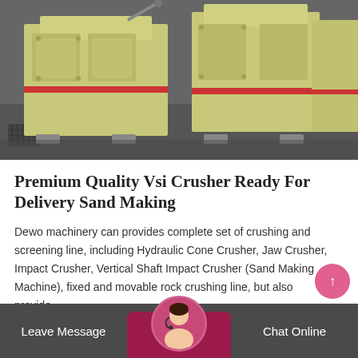[Figure (photo): Multiple large yellow industrial VSI crushers / impact crusher machines lined up in a row on a concrete floor, viewed from a low angle. Machines are boxy yellow metal with red accent lines.]
Premium Quality Vsi Crusher Ready For Delivery Sand Making
Dewo machinery can provides complete set of crushing and screening line, including Hydraulic Cone Crusher, Jaw Crusher, Impact Crusher, Vertical Shaft Impact Crusher (Sand Making Machine), fixed and movable rock crushing line, but also provide…
Leave Message   Chat Online